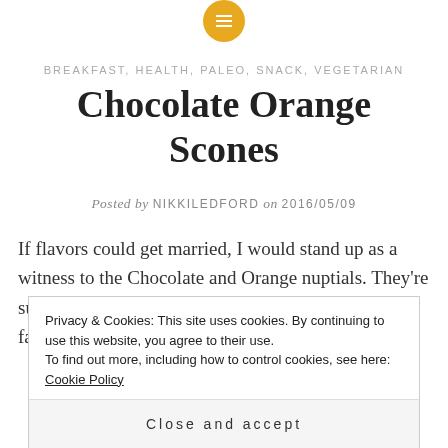[Figure (logo): Gold circle icon with three horizontal white lines (hamburger menu icon)]
BREAKFAST, HEALTH, PALEO, SNACK, VEGETARIAN
Chocolate Orange Scones
Posted by NIKKILEDFORD on 2016/05/09
If flavors could get married, I would stand up as a witness to the Chocolate and Orange nuptials. They're such a classy pair, don't you think!? One of my favorite
Privacy & Cookies: This site uses cookies. By continuing to use this website, you agree to their use.
To find out more, including how to control cookies, see here: Cookie Policy
Close and accept
As I get further along into my pregnancy I've been